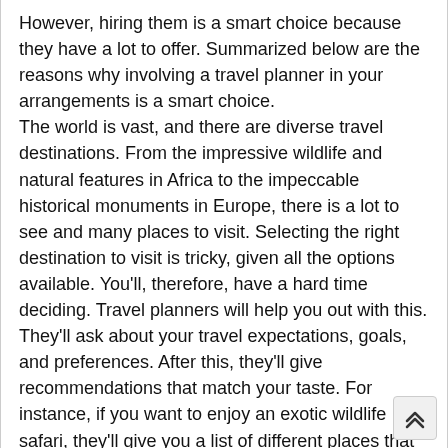However, hiring them is a smart choice because they have a lot to offer. Summarized below are the reasons why involving a travel planner in your arrangements is a smart choice.
The world is vast, and there are diverse travel destinations. From the impressive wildlife and natural features in Africa to the impeccable historical monuments in Europe, there is a lot to see and many places to visit. Selecting the right destination to visit is tricky, given all the options available. You'll, therefore, have a hard time deciding. Travel planners will help you out with this. They'll ask about your travel expectations, goals, and preferences. After this, they'll give recommendations that match your taste. For instance, if you want to enjoy an exotic wildlife safari, they'll give you a list of different places that you can tour. Aside from taking your travel preferences into account, they'll also factor in important things such as security. Travel planners will assist you in picking a destination that is not only secure but also suits your travel preferences.
People are led into believing that finding suitable accommodation is easy, considering that there are many platforms that help with this. However, it is only after you